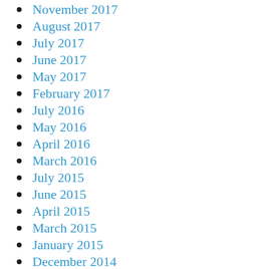November 2017
August 2017
July 2017
June 2017
May 2017
February 2017
July 2016
May 2016
April 2016
March 2016
July 2015
June 2015
April 2015
March 2015
January 2015
December 2014